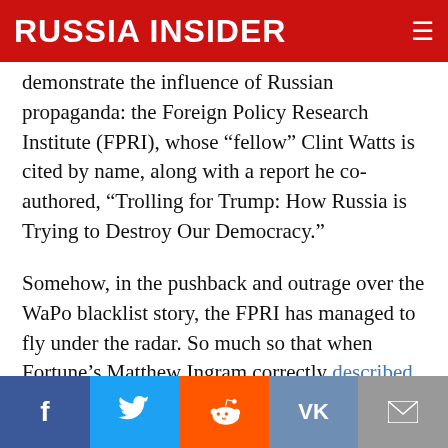RUSSIA INSIDER
demonstrate the influence of Russian propaganda: the Foreign Policy Research Institute (FPRI), whose “fellow” Clint Watts is cited by name, along with a report he co-authored, “Trolling for Trump: How Russia is Trying to Destroy Our Democracy.”
Somehow, in the pushback and outrage over the WaPo blacklist story, the FPRI has managed to fly under the radar. So much so that when Fortune’s Matthew Ingram correctly described the FPRI as “proponents of the Cold War” he was compelled to issue a clarification, changing the description to “a conservative think tank known for its
f         VK  ✉